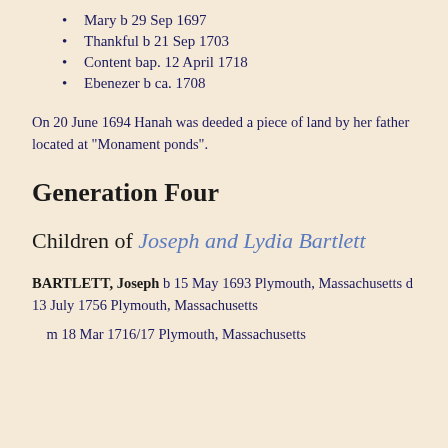Mary b 29 Sep 1697
Thankful b 21 Sep 1703
Content bap. 12 April 1718
Ebenezer b ca. 1708
On 20 June 1694 Hanah was deeded a piece of land by her father located at "Monament ponds".
Generation Four
Children of Joseph and Lydia Bartlett
BARTLETT, Joseph b 15 May 1693 Plymouth, Massachusetts d 13 July 1756 Plymouth, Massachusetts
m 18 Mar 1716/17 Plymouth, Massachusetts